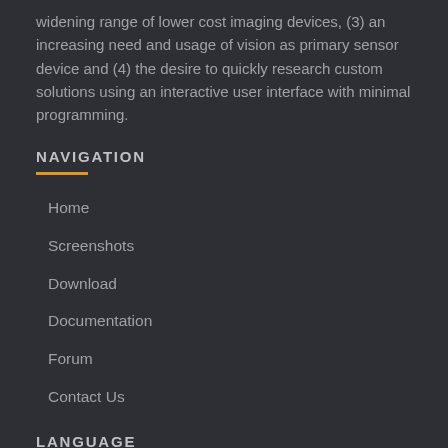widening range of lower cost imaging devices, (3) an increasing need and usage of vision as primary sensor device and (4) the desire to quickly research custom solutions using an interactive user interface with minimal programming.
NAVIGATION
Home
Screenshots
Download
Documentation
Forum
Contact Us
LANGUAGE